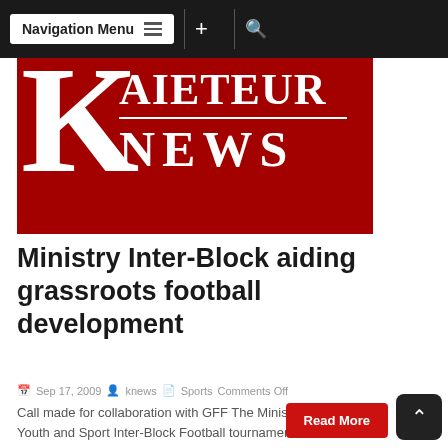Navigation Menu
[Figure (logo): Kaieteur News logo — large red background with white letter K on left and 'KAIETEUR NEWS' text on right]
Ministry Inter-Block aiding grassroots football development
Sep 17, 2009  knews  Sports  Comments Off
Call made for collaboration with GFF The Ministry of Culture Youth and Sport Inter-Block Football tournaments are underway in several areas around the country, with some already completed, and much...